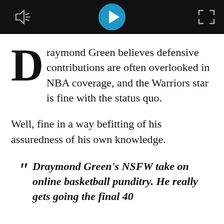[Figure (screenshot): Video player bar with volume icon on left, blue circular play button in center, and expand/fullscreen icon on right, all on black background]
Draymond Green believes defensive contributions are often overlooked in NBA coverage, and the Warriors star is fine with the status quo.
Well, fine in a way befitting of his assuredness of his own knowledge.
" Draymond Green's NSFW take on online basketball punditry. He really gets going the final 40